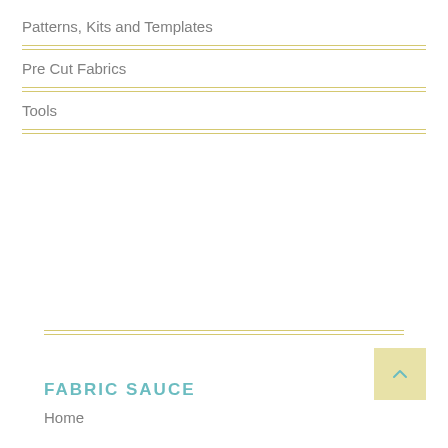Patterns, Kits and Templates
Pre Cut Fabrics
Tools
FABRIC SAUCE
Home